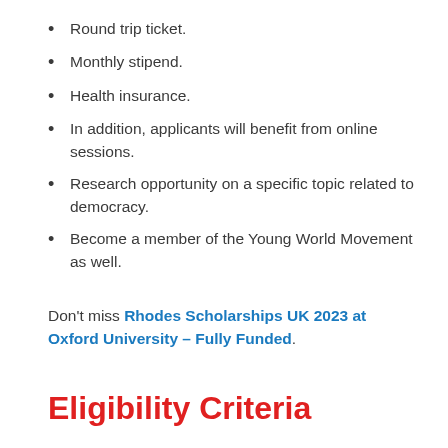Round trip ticket.
Monthly stipend.
Health insurance.
In addition, applicants will benefit from online sessions.
Research opportunity on a specific topic related to democracy.
Become a member of the Young World Movement as well.
Don't miss Rhodes Scholarships UK 2023 at Oxford University – Fully Funded.
Eligibility Criteria